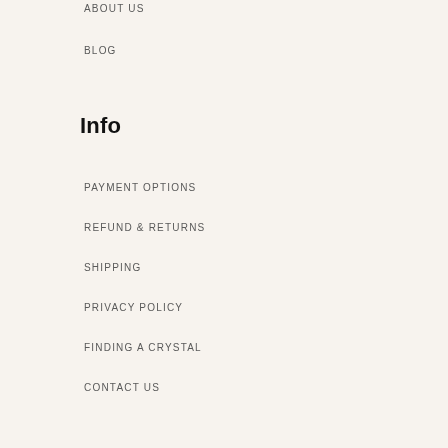ABOUT US
BLOG
Info
PAYMENT OPTIONS
REFUND & RETURNS
SHIPPING
PRIVACY POLICY
FINDING A CRYSTAL
CONTACT US